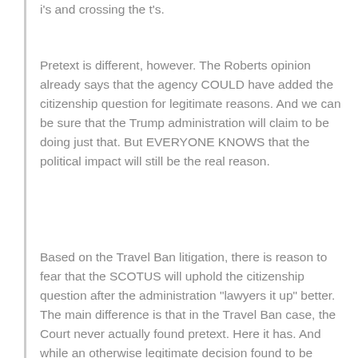i's and crossing the t's.
Pretext is different, however. The Roberts opinion already says that the agency COULD have added the citizenship question for legitimate reasons. And we can be sure that the Trump administration will claim to be doing just that. But EVERYONE KNOWS that the political impact will still be the real reason.
Based on the Travel Ban litigation, there is reason to fear that the SCOTUS will uphold the citizenship question after the administration "lawyers it up" better. The main difference is that in the Travel Ban case, the Court never actually found pretext. Here it has. And while an otherwise legitimate decision found to be pretextual should not be forever barred, where only a few months (at most) will pass, and the motives remain the same, a new determination to include the